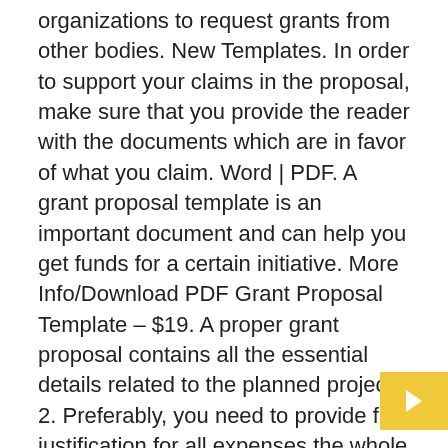organizations to request grants from other bodies. New Templates. In order to support your claims in the proposal, make sure that you provide the reader with the documents which are in favor of what you claim. Word | PDF. A grant proposal template is an important document and can help you get funds for a certain initiative. More Info/Download PDF Grant Proposal Template – $19. A proper grant proposal contains all the essential details related to the planned project. 2. Preferably, you need to provide full justification for all expenses the whole project will require. rtcil.org. Slidebean's grant proposal template has several slides that will help you secure funding from the government or a non-profit organization. In order to increase your chances of winning the grants, the following tips will be of your help: Things to consider before writing a grant proposal, Tips to increase the success rate of your